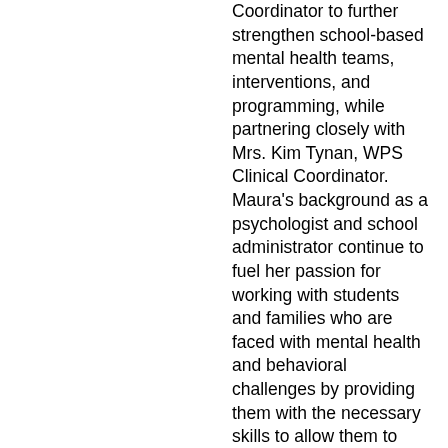Coordinator to further strengthen school-based mental health teams, interventions, and programming, while partnering closely with Mrs. Kim Tynan, WPS Clinical Coordinator.  Maura's background as a psychologist and school administrator continue to fuel her passion for working with students and families who are  faced with mental health and behavioral challenges by providing them with the necessary skills to allow them to demonstrate school behaviors and gain better access to classroom learning.